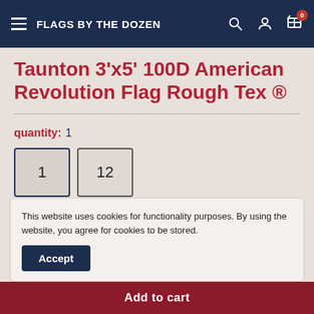FLAGS BY THE DOZEN
Taunton 3'x5' 100D American Revolution Flag Rough Tex ®
quantity: 1
1  12
Price: $18.88
This website uses cookies for functionality purposes. By using the website, you agree for cookies to be stored.
Accept
Add to cart